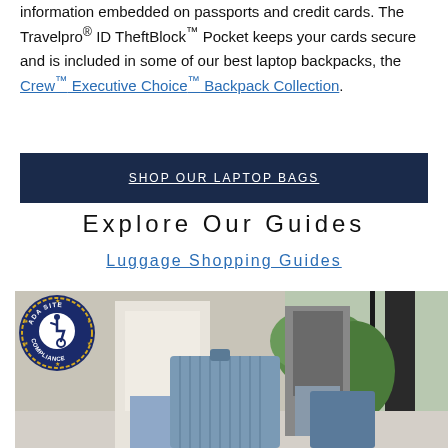information embedded on passports and credit cards. The Travelpro® ID TheftBlock™ Pocket keeps your cards secure and is included in some of our best laptop backpacks, the Crew™ Executive Choice™ Backpack Collection.
SHOP OUR LAPTOP BAGS
Explore Our Guides
Luggage Shopping Guides
[Figure (photo): Person in white shirt pulling blue wheeled luggage in a bright indoor setting, with another person and luggage visible in background near large windows. ADA Site Compliance badge overlaid in bottom-left corner.]